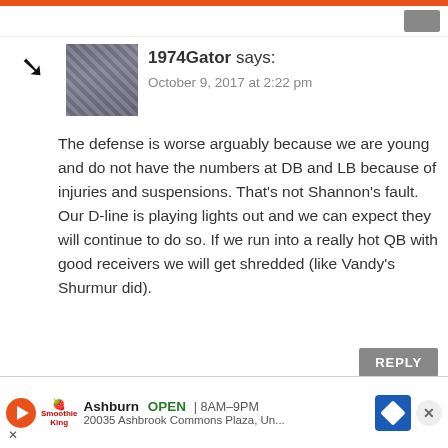1974Gator says:
October 9, 2017 at 2:22 pm

The defense is worse arguably because we are young and do not have the numbers at DB and LB because of injuries and suspensions. That's not Shannon's fault. Our D-line is playing lights out and we can expect they will continue to do so. If we run into a really hot QB with good receivers we will get shredded (like Vandy's Shurmur did).
Mike Simolo says:
October 8, 2017 at 2:33 pm

Do you... Players...